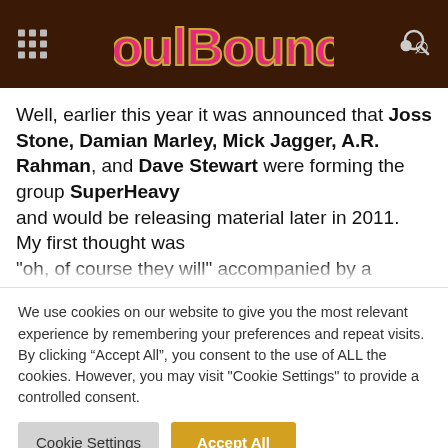SoulBounce
Well, earlier this year it was announced that Joss Stone, Damian Marley, Mick Jagger, A.R. Rahman, and Dave Stewart were forming the group SuperHeavy and would be releasing material later in 2011. My first thought was “oh, of course they will” accompanied by a
We use cookies on our website to give you the most relevant experience by remembering your preferences and repeat visits. By clicking “Accept All”, you consent to the use of ALL the cookies. However, you may visit "Cookie Settings" to provide a controlled consent.